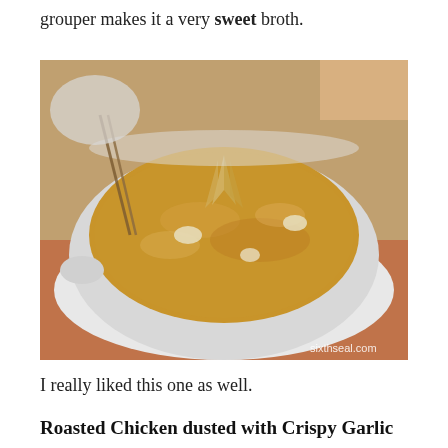grouper makes it a very sweet broth.
[Figure (photo): A white bowl of sweet broth soup with translucent ingredients and a garnish, served on a white plate on an orange patterned surface. Watermark: sixthseal.com]
I really liked this one as well.
Roasted Chicken dusted with Crispy Garlic